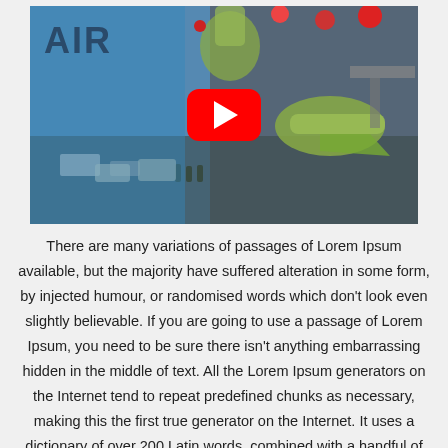[Figure (screenshot): A YouTube video thumbnail showing airplanes at an airport terminal on a rainy day. The left side has a blue gradient with the word 'AIR' in bold dark blue text. Green-painted aircraft are visible at gates. A red YouTube play button is centered on the image.]
There are many variations of passages of Lorem Ipsum available, but the majority have suffered alteration in some form, by injected humour, or randomised words which don't look even slightly believable. If you are going to use a passage of Lorem Ipsum, you need to be sure there isn't anything embarrassing hidden in the middle of text. All the Lorem Ipsum generators on the Internet tend to repeat predefined chunks as necessary, making this the first true generator on the Internet. It uses a dictionary of over 200 Latin words, combined with a handful of model sentence structures, to generate Lorem